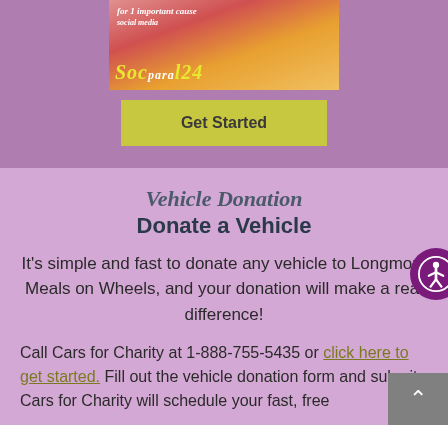[Figure (photo): Banner image with stylized text 'Socpara' in yellow italic letters on a colorful background of pink, red, and gold tones]
Get Started
Vehicle Donation
Donate a Vehicle
It's simple and fast to donate any vehicle to Longmont Meals on Wheels, and your donation will make a real difference!
Call Cars for Charity at 1-888-755-5435 or click here to get started. Fill out the vehicle donation form and submit. Cars for Charity will schedule your fast, free